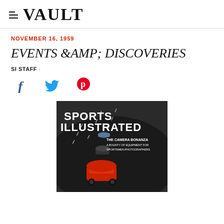VAULT
NOVEMBER 16, 1959
EVENTS &AMP; DISCOVERIES
SI STAFF ·
[Figure (photo): Sports Illustrated magazine cover from November 16, 1959. Shows racing cars on a track with text 'SPORTS ILLUSTRATED' and subheading 'THE CAMERA BONANZA - A BOUNTY OF EQUIPMENT FOR SPORTSMEN-PHOTOGRAPHERS']
[Figure (infographic): Social media share icons: Facebook (f), Twitter (bird), Pinterest (p)]